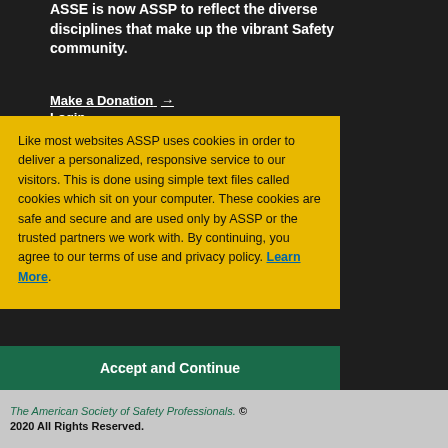ASSE is now ASSP to reflect the diverse disciplines that make up the vibrant Safety community.
Make a Donation →
Login →
Membership →
Jobs →
Like most websites ASSP uses cookies in order to deliver a personalized, responsive service to our visitors. This is done using simple text files called cookies which sit on your computer. These cookies are safe and secure and are used only by ASSP or the trusted partners we work with. By continuing, you agree to our terms of use and privacy policy. Learn More.
Accept and Continue
The American Society of Safety Professionals. © 2020 All Rights Reserved.